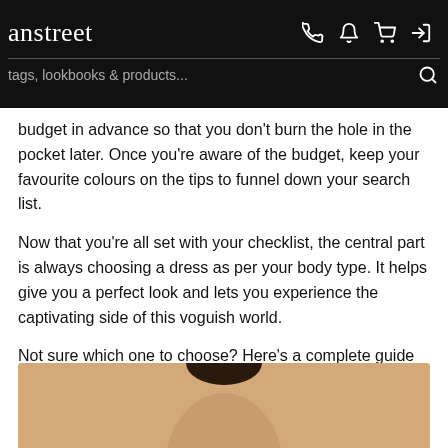anstreet [phone] [bell] [cart] [login] | tags, lookbooks & products... [search]
budget in advance so that you don't burn the hole in the pocket later. Once you're aware of the budget, keep your favourite colours on the tips to funnel down your search list.
Now that you're all set with your checklist, the central part is always choosing a dress as per your body type. It helps give you a perfect look and lets you experience the captivating side of this voguish world.
Not sure which one to choose? Here's a complete guide to help you out-
1. Salwar Jumpsuit-
[Figure (photo): Partial product photo showing model from shoulders down against a warm beige/tan background, dark hair visible at top, bottom of page cropped]